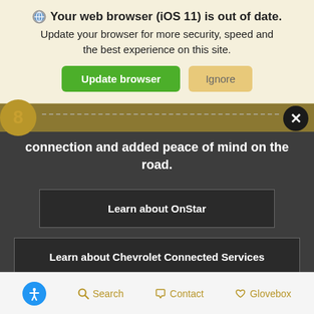Your web browser (iOS 11) is out of date. Update your browser for more security, speed and the best experience on this site.
[Figure (screenshot): Browser update notification banner with Update browser (green) and Ignore (tan) buttons, overlaying a Chevrolet website showing partial text 'connection and added peace of mind on the road.' with buttons 'Learn about OnStar' and 'Learn about Chevrolet Connected Services', and a bottom navigation bar with accessibility, Search, Contact, and Glovebox icons.]